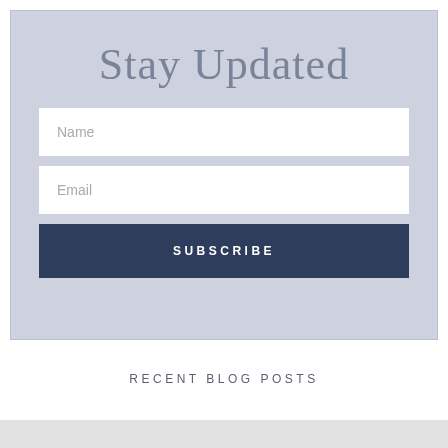Stay Updated
Name
Email
SUBSCRIBE
RECENT BLOG POSTS